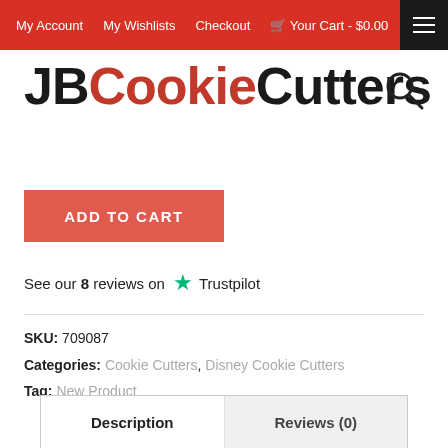My Account  My Wishlists  Checkout  🛒 Your Cart - $0.00
JBCookieCutters
ADD TO CART
See our 8 reviews on ★ Trustpilot
SKU: 709087
Categories: Cookie Cutters, Disney Cookie Cutters
Tag: New Product
Description
Reviews (0)